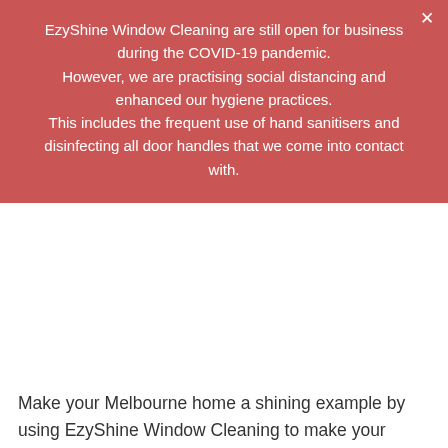EzyShine Window Cleaning are still open for business during the COVID-19 pandemic. However, we are practising social distancing and enhanced our hygiene practices. This includes the frequent use of hand sanitisers and disinfecting all door handles that we come into contact with.
Make your Melbourne home a shining example by using EzyShine Window Cleaning to make your windows sparkle and shine.  We won't just clean your windows. Your window frames, sills, flyscreens as well as any cobwebs will also be cleaned. By the time we